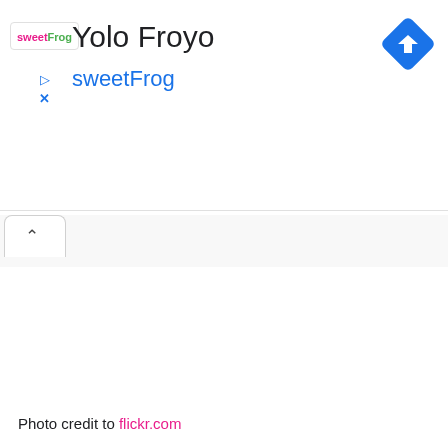[Figure (screenshot): Google Maps style location card showing 'Yolo Froyo' by sweetFrog with a logo, play/close icons, and a blue diamond direction button]
Yolo Froyo
sweetFrog
^
Photo credit to flickr.com